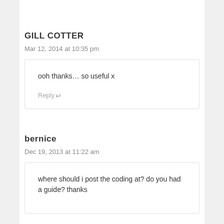GILL COTTER
Mar 12, 2014 at 10:35 pm
ooh thanks… so useful x
Reply ↵
bernice
Dec 19, 2013 at 11:22 am
where should i post the coding at? do you had a guide? thanks